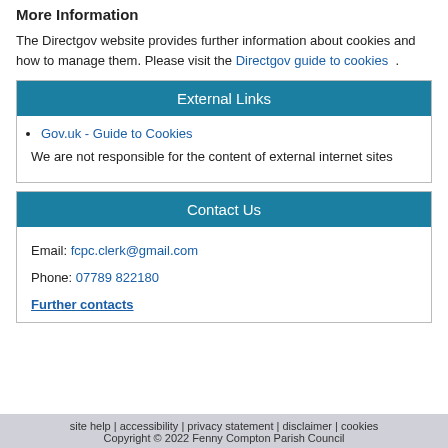More Information
The Directgov website provides further information about cookies and how to manage them. Please visit the Directgov guide to cookies .
External Links
Gov.uk - Guide to Cookies
We are not responsible for the content of external internet sites
Contact Us
Email: fcpc.clerk@gmail.com
Phone: 07789 822180
Further contacts
site help | accessibility | privacy statement | disclaimer | cookies Copyright © 2022 Fenny Compton Parish Council